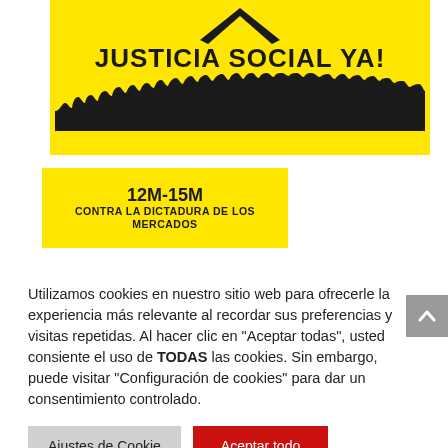[Figure (illustration): Yellow background protest poster with black chevron/arrow symbol at top, bold text 'JUSTICIA SOCIAL YA!' in black, and silhouette of crowd of protesters at the bottom]
[Figure (illustration): Yellow banner with bold black text '12M-15M' on first line and 'CONTRA LA DICTADURA DE LOS MERCADOS' on second line]
Utilizamos cookies en nuestro sitio web para ofrecerle la experiencia más relevante al recordar sus preferencias y visitas repetidas. Al hacer clic en "Aceptar todas", usted consiente el uso de TODAS las cookies. Sin embargo, puede visitar "Configuración de cookies" para dar un consentimiento controlado.
Ajustes de Cookie
Aceptar todo